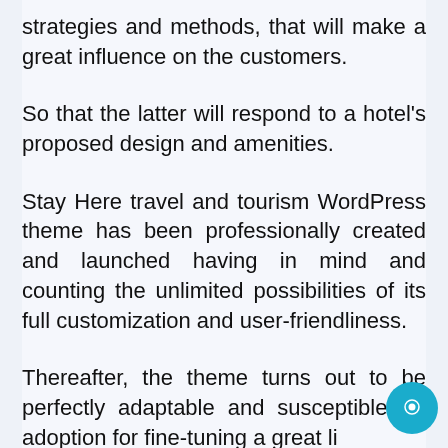strategies and methods, that will make a great influence on the customers.
So that the latter will respond to a hotel's proposed design and amenities.
Stay Here travel and tourism WordPress theme has been professionally created and launched having in mind and counting the unlimited possibilities of its full customization and user-friendliness.
Thereafter, the theme turns out to be perfectly adaptable and susceptible for adoption for fine-tuning a great li...